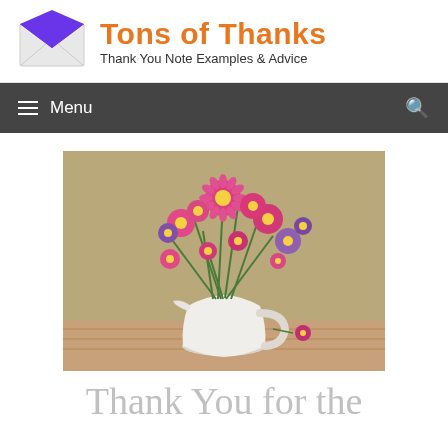Tons of Thanks — Thank You Note Examples & Advice
[Figure (logo): Envelope icon: white envelope with purple/violet flap, open]
[Figure (photo): A white ceramic pitcher/jug filled with pink and purple aster flowers on a wooden surface against a muted olive/tan background]
Thank You for the